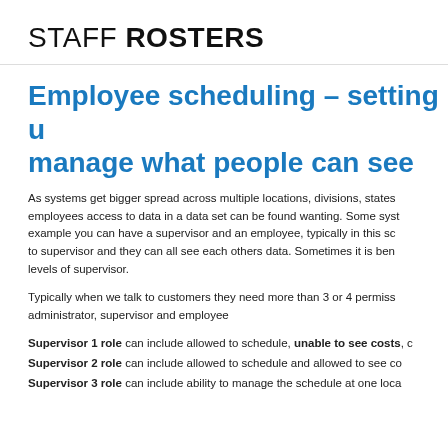STAFF ROSTERS
Employee scheduling – setting u manage what people can see
As systems get bigger spread across multiple locations, divisions, states employees access to data in a data set can be found wanting. Some syst example you can have a supervisor and an employee, typically in this sc to supervisor and they can all see each others data. Sometimes it is ben levels of supervisor.
Typically when we talk to customers they need more than 3 or 4 permiss administrator, supervisor and employee
Supervisor 1 role can include allowed to schedule, unable to see costs, c
Supervisor 2 role can include allowed to schedule and allowed to see co
Supervisor 3 role can include ability to manage the schedule at one loca